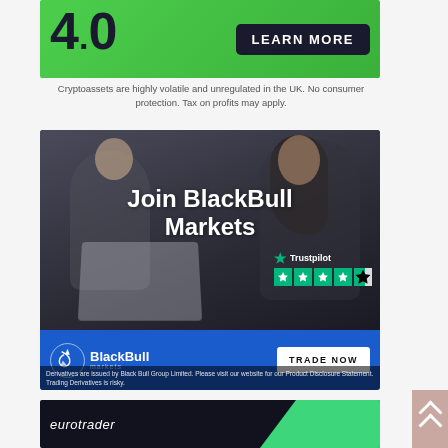[Figure (illustration): Green background crypto ad with '4.0' large number and dark 'LEARN MORE' button]
Cryptoassets are highly volatile and unregulated in the UK. No consumer protection. Tax on profits may apply.
[Figure (illustration): BlackBull Markets advertisement showing two professionals with laptop, 'Join BlackBull Markets' headline, Trustpilot 5-star rating, blue bottom bar with BlackBull logo and TRADE NOW button. Fine print: Derivatives are issued by Black Bull Group Limited. Please visit our website for our Product Disclosure Statement. Trading Derivatives is risky.]
[Figure (illustration): Eurotrader logo advertisement with dark background and green geometric shape, showing 'eurotrader' italic text]